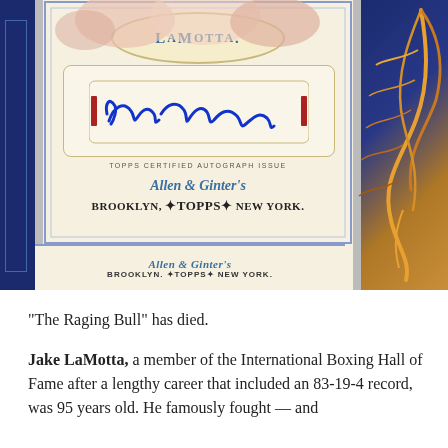[Figure (photo): A Topps Allen & Ginter certified autograph trading card of Jake LaMotta. The card shows his name 'LaMotta.' in a cream oval at the top, a blue ink signature 'Jake LaMotta' on a cream scroll background, 'TOPPS CERTIFIED AUTOGRAPH ISSUE' text, Allen & Ginter's Topps Brooklyn New York branding. The card has a blue decorative border with an orange/gold feather decoration on the right side. The bottom of the outer card also shows Allen & Ginter's Topps Brooklyn New York branding.]
“The Raging Bull” has died.
Jake LaMotta, a member of the International Boxing Hall of Fame after a lengthy career that included an 83-19-4 record, was 95 years old. He famously fought — and